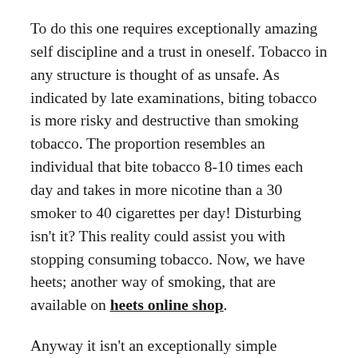To do this one requires exceptionally amazing self discipline and a trust in oneself. Tobacco in any structure is thought of as unsafe. As indicated by late examinations, biting tobacco is more risky and destructive than smoking tobacco. The proportion resembles an individual that bite tobacco 8-10 times each day and takes in more nicotine than a 30 smoker to 40 cigarettes per day! Disturbing isn't it? This reality could assist you with stopping consuming tobacco. Now, we have heets; another way of smoking, that are available on heets online shop.
Anyway it isn't an exceptionally simple undertaking to conquer this enslavement right at one go, yet with a solid attitude it is conceivable. However, one can attempt cures like these – make an effort not to have loads of tobacco available, rather it may very well be supplanted with biting gum or air pocket gum, hard